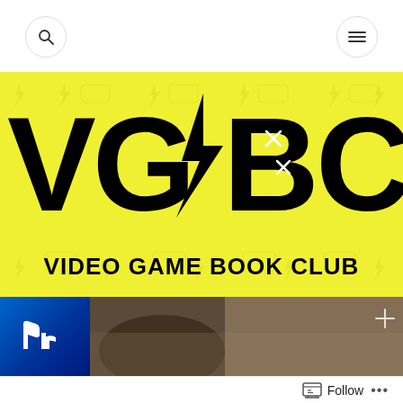Navigation bar with search and menu icons
[Figure (logo): VGBC Video Game Book Club banner logo on yellow background with gaming controller and lightning bolt icons pattern. Large black text 'VGBC' with lightning bolt between G and B, and subtitle 'VIDEO GAME BOOK CLUB']
[Figure (screenshot): PlayStation section showing PS logo on blue bar with a dark image area showing what appears to be a person, with a cross/plus icon in corner]
Follow ...